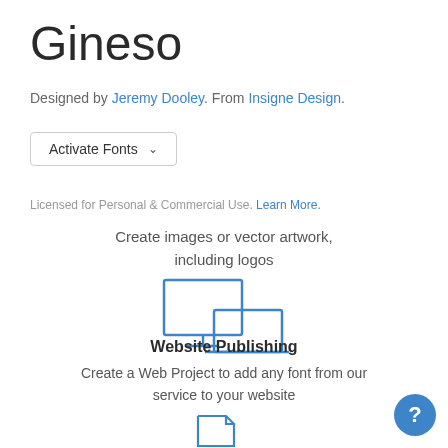Gineso
Designed by Jeremy Dooley. From Insigne Design.
Activate Fonts
Licensed for Personal & Commercial Use. Learn More.
Create images or vector artwork, including logos
[Figure (illustration): Monitor and laptop icon in blue outline style]
Website Publishing
Create a Web Project to add any font from our service to your website
[Figure (illustration): Document/page icon in blue outline style at bottom]
[Figure (illustration): Blue circle help button with question mark]